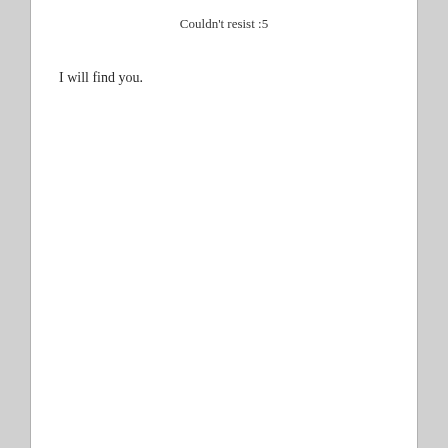Couldn't resist :5
I will find you.